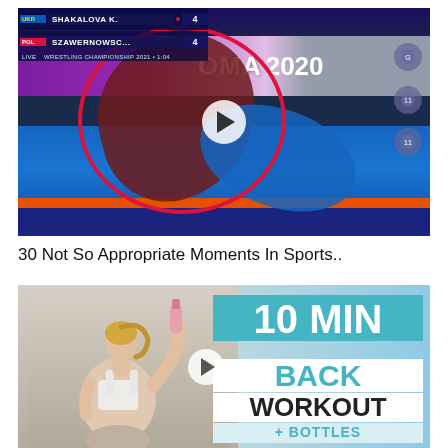[Figure (screenshot): Video thumbnail of a wrestling match at Roma 2020 Olympics. Two athletes on a blue mat — one in maroon, one in blue. A large red circle highlights the action. A white play button is centered. Score overlay top-left shows UKR SHAKALOVA K. vs POL SZAWERNOWSC... both at 4. Side icons visible on right.]
30 Not So Appropriate Moments In Sports..
[Figure (screenshot): Video thumbnail for a 10 MIN BACK WORKOUT with BOTTLES exercise video. Left side shows a woman in a white sports bra with a blonde ponytail holding a bottle overhead, viewed from behind. Right side has a light blue '10 MIN' banner, white 'BACK WORKOUT' text, and partial '+ BOTTLES' label at bottom. A play button is visible in the center.]